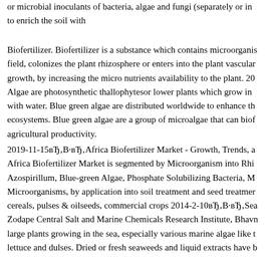or microbial inoculants of bacteria, algae and fungi (separately or in to enrich the soil with
Biofertilizer. Biofertilizer is a substance which contains microorganis field, colonizes the plant rhizosphere or enters into the plant vascular growth, by increasing the micro nutrients availability to the plant. 20 Algae are photosynthetic thallophytesor lower plants which grow in with water. Blue green algae are distributed worldwide to enhance th ecosystems. Blue green algae are a group of microalgae that can biof agricultural productivity.
2019-11-15вЂ‚В·вЂ‚Africa Biofertilizer Market - Growth, Trends, a Africa Biofertilizer Market is segmented by Microorganism into Rhi Azospirillum, Blue-green Algae, Phosphate Solubilizing Bacteria, M Microorganisms, by application into soil treatment and seed treatmer cereals, pulses & oilseeds, commercial crops 2014-2-10вЂ‚В·вЂ‚Sea Zodape Central Salt and Marine Chemicals Research Institute, Bhavn large plants growing in the sea, especially various marine algae like t lettuce and dulses. Dried or fresh seaweeds and liquid extracts have b